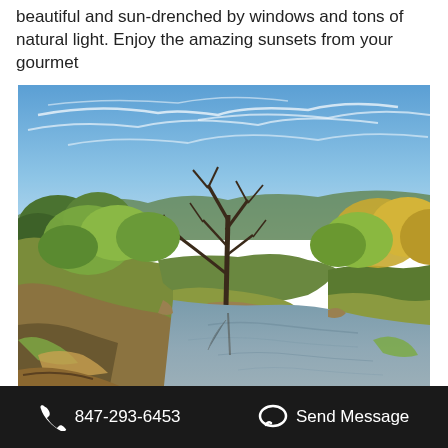beautiful and sun-drenched by windows and tons of natural light. Enjoy the amazing sunsets from your gourmet
[Figure (photo): Outdoor landscape photo showing a calm river or creek with muddy water, surrounded by bare and leafy trees under a partly cloudy blue sky. Fallen logs visible near the water's edge.]
847-293-6453   Send Message